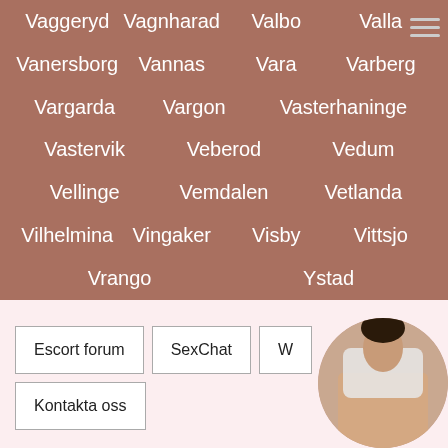Vaggeryd
Vagnharad
Valbo
Valla
Vanersborg
Vannas
Vara
Varberg
Vargarda
Vargon
Vasterhaninge
Vastervik
Veberod
Vedum
Vellinge
Vemdalen
Vetlanda
Vilhelmina
Vingaker
Visby
Vittsjo
Vrango
Ystad
Escort forum
SexChat
W
Kontakta oss
[Figure (photo): Circular photo of a woman in a white top]